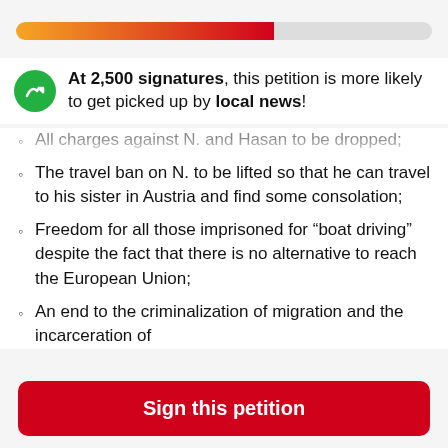[Figure (other): Progress bar with gradient from orange to red, partially filled]
At 2,500 signatures, this petition is more likely to get picked up by local news!
All charges against N. and Hasan to be dropped;
The travel ban on N. to be lifted so that he can travel to his sister in Austria and find some consolation;
Freedom for all those imprisoned for “boat driving” despite the fact that there is no alternative to reach the European Union;
An end to the criminalization of migration and the incarceration of
Sign this petition